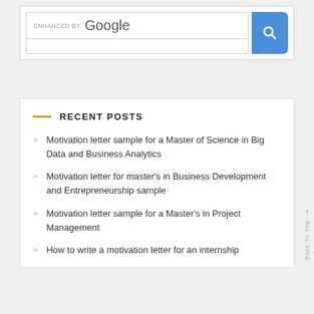[Figure (screenshot): Google search bar widget with 'ENHANCED BY Google' text and blue search button]
RECENT POSTS
Motivation letter sample for a Master of Science in Big Data and Business Analytics
Motivation letter for master's in Business Development and Entrepreneurship sample
Motivation letter sample for a Master's in Project Management
How to write a motivation letter for an internship